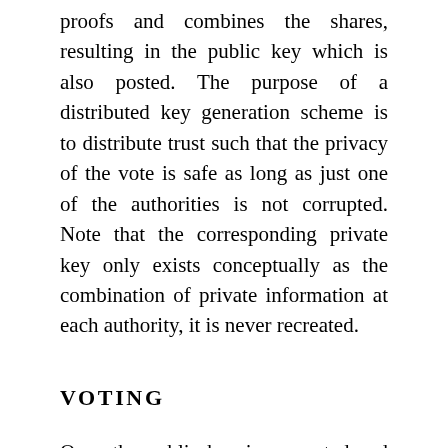proofs and combines the shares, resulting in the public key which is also posted. The purpose of a distributed key generation scheme is to distribute trust such that the privacy of the vote is safe as long as just one of the authorities is not corrupted. Note that the corresponding private key only exists conceptually as the combination of private information at each authority, it is never recreated.
VOTING
Once the public key is generated and publicly available at the bulletin board the election can begin. When casting votes, user's voting